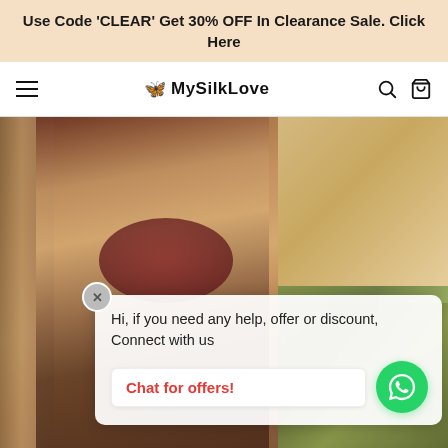Use Code 'CLEAR' Get 30% OFF In Clearance Sale. Click Here
MySilkLove
[Figure (photo): Hero image of a woman wearing a traditional Indian silk saree with red embroidered blouse and gold jewelry, standing in front of decorative carved columns. Right panel shows floral vines with pink flowers on a beige background.]
Hi, if you need any help, offer or discount, Connect with us
Chat for offers!